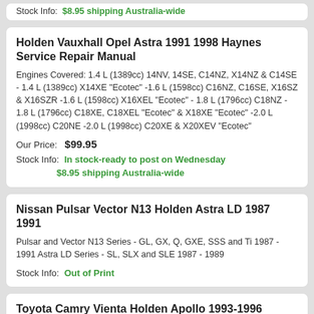Stock Info: $8.95 shipping Australia-wide
Holden Vauxhall Opel Astra 1991 1998 Haynes Service Repair Manual
Engines Covered: 1.4 L (1389cc) 14NV, 14SE, C14NZ, X14NZ & C14SE - 1.4 L (1389cc) X14XE "Ecotec" -1.6 L (1598cc) C16NZ, C16SE, X16SZ & X16SZR -1.6 L (1598cc) X16XEL "Ecotec" - 1.8 L (1796cc) C18NZ - 1.8 L (1796cc) C18XE, C18XEL "Ecotec" & X18XE "Ecotec" -2.0 L (1998cc) C20NE -2.0 L (1998cc) C20XE & X20XEV "Ecotec"
Our Price: $99.95
Stock Info: In stock-ready to post on Wednesday $8.95 shipping Australia-wide
Nissan Pulsar Vector N13 Holden Astra LD 1987 1991
Pulsar and Vector N13 Series - GL, GX, Q, GXE, SSS and Ti 1987 - 1991 Astra LD Series - SL, SLX and SLE 1987 - 1989
Stock Info: Out of Print
Toyota Camry Vienta Holden Apollo 1993-1996 Haynes Service Repair Manual
Engines Covered: * 2.2 litre "5S-FE" DOHC 16 valve 4 cylinder petrol * 3.0 litre "3VZ-FE" & "1MZ-FE" DOHC 24 valve V6 petrol